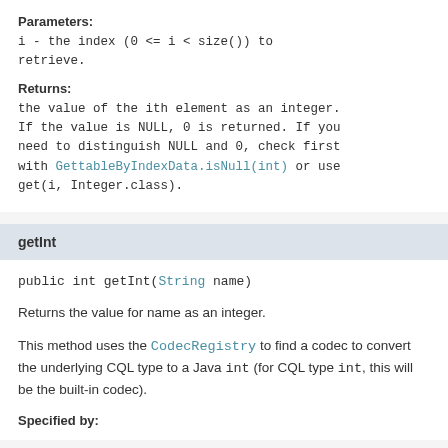Parameters:
i - the index (0 <= i < size()) to retrieve.
Returns:
the value of the ith element as an integer. If the value is NULL, 0 is returned. If you need to distinguish NULL and 0, check first with GettableByIndexData.isNull(int) or use get(i, Integer.class).
getInt
public int getInt(String name)
Returns the value for name as an integer.
This method uses the CodecRegistry to find a codec to convert the underlying CQL type to a Java int (for CQL type int, this will be the built-in codec).
Specified by: